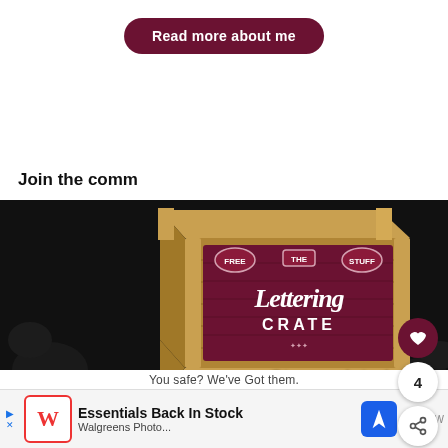[Figure (other): Dark red rounded button labeled 'Read more about me']
Join the comm...
[Figure (photo): Wooden crate with dark red front panel reading 'The Lettering Crate' with FREE and STUFF badge labels, on a black background with decorative floral elements. Overlay text reads: 'Stay updated with my tutorials and get instant access to the Lettering Crate!']
You safe? We've Got them.
[Figure (other): Advertisement banner: Walgreens logo with 'Essentials Back In Stock' text and navigation icon]